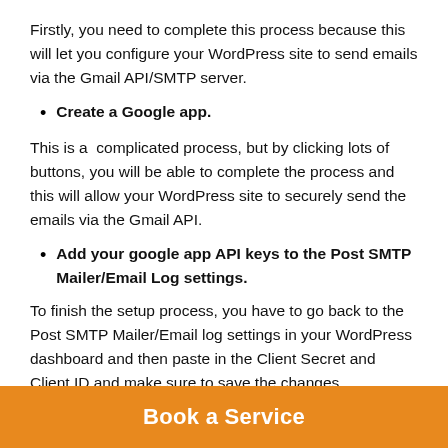Firstly, you need to complete this process because this will let you configure your WordPress site to send emails via the Gmail API/SMTP server.
Create a Google app.
This is a  complicated process, but by clicking lots of buttons, you will be able to complete the process and this will allow your WordPress site to securely send the emails via the Gmail API.
Add your google app API keys to the Post SMTP Mailer/Email Log settings.
To finish the setup process, you have to go back to the Post SMTP Mailer/Email log settings in your WordPress dashboard and then paste in the Client Secret and Client ID and make sure to save the changes.
Book a Service